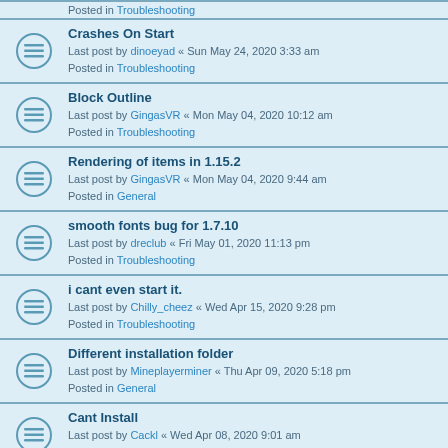Posted in Troubleshooting (partial top row)
Crashes On Start
Last post by dinoeyad « Sun May 24, 2020 3:33 am
Posted in Troubleshooting
Block Outline
Last post by GingasVR « Mon May 04, 2020 10:12 am
Posted in Troubleshooting
Rendering of items in 1.15.2
Last post by GingasVR « Mon May 04, 2020 9:44 am
Posted in General
smooth fonts bug for 1.7.10
Last post by dreclub « Fri May 01, 2020 11:13 pm
Posted in Troubleshooting
i cant even start it.
Last post by Chilly_cheez « Wed Apr 15, 2020 9:28 pm
Posted in Troubleshooting
Different installation folder
Last post by Mineplayerminer « Thu Apr 09, 2020 5:18 pm
Posted in General
Cant Install
Last post by Cackl « Wed Apr 08, 2020 9:01 am
Posted in Troubleshooting
DBC mod keybinds setup [1.7.10]
Last post by sharkfox « Sun Apr 05, 2020 10:37 pm
Posted in Modpacks
THANK U SO MUCH JRBUDDA! (partial bottom row)